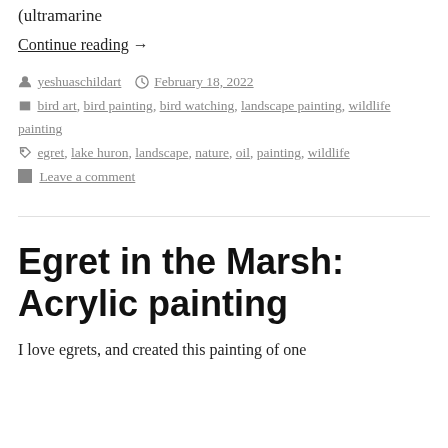(ultramarine
Continue reading →
yeshuaschildart  February 18, 2022
bird art, bird painting, bird watching, landscape painting, wildlife painting
egret, lake huron, landscape, nature, oil, painting, wildlife
Leave a comment
Egret in the Marsh: Acrylic painting
I love egrets, and created this painting of one